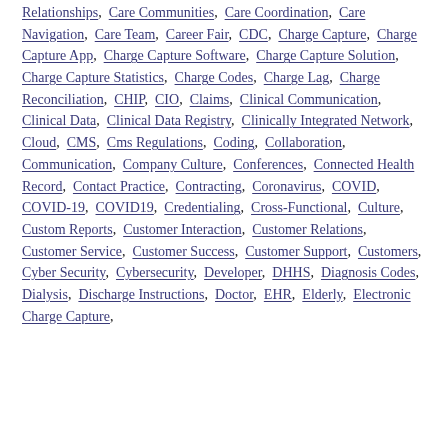Relationships, Care Communities, Care Coordination, Care Navigation, Care Team, Career Fair, CDC, Charge Capture, Charge Capture App, Charge Capture Software, Charge Capture Solution, Charge Capture Statistics, Charge Codes, Charge Lag, Charge Reconciliation, CHIP, CIO, Claims, Clinical Communication, Clinical Data, Clinical Data Registry, Clinically Integrated Network, Cloud, CMS, Cms Regulations, Coding, Collaboration, Communication, Company Culture, Conferences, Connected Health Record, Contact Practice, Contracting, Coronavirus, COVID, COVID-19, COVID19, Credentialing, Cross-Functional, Culture, Custom Reports, Customer Interaction, Customer Relations, Customer Service, Customer Success, Customer Support, Customers, Cyber Security, Cybersecurity, Developer, DHHS, Diagnosis Codes, Dialysis, Discharge Instructions, Doctor, EHR, Elderly, Electronic Charge Capture,